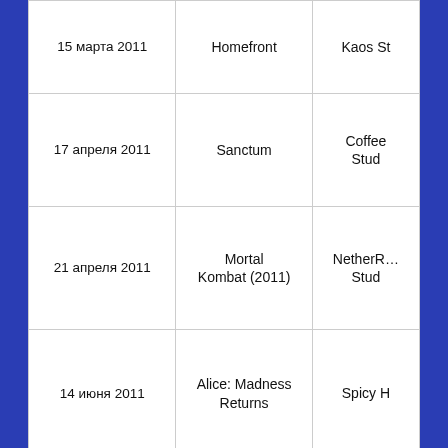| 15 марта 2011 | Homefront | Kaos St… |
| 17 апреля 2011 | Sanctum | Coffee Stud… |
| 21 апреля 2011 | Mortal Kombat (2011) | NetherR… Stud… |
| 14 июня 2011 | Alice: Madness Returns | Spicy H… |
| 30 июня 2011 | Hunted: The Demon`s Forge | inXi… Entertain… |
| 13 сентября 2011 | Red Orchestra 2: Heroes of … | Tripw… Interac… |